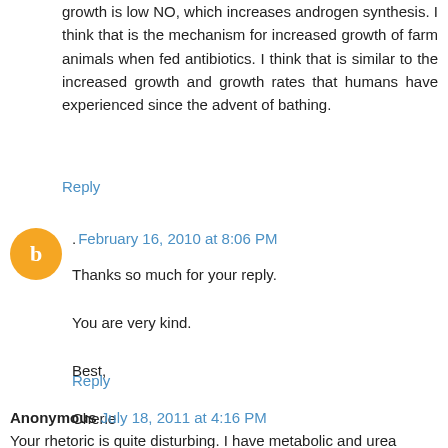growth is low NO, which increases androgen synthesis. I think that is the mechanism for increased growth of farm animals when fed antibiotics. I think that is similar to the increased growth and growth rates that humans have experienced since the advent of bathing.
Reply
. February 16, 2010 at 8:06 PM
Thanks so much for your reply.

You are very kind.

Best,

Cherie
Reply
Anonymous July 18, 2011 at 4:16 PM
Your rhetoric is quite disturbing. I have metabolic and urea